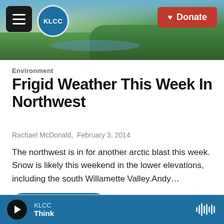[Figure (photo): KLCC radio station website header with a landscape photo of hills and river, hamburger menu button, KLCC circular logo, and a red Donate button.]
Environment
Frigid Weather This Week In Northwest
Rachael McDonald,  February 3, 2014
The northwest is in for another arctic blast this week. Snow is likely this weekend in the lower elevations, including the south Willamette Valley.Andy…
LISTEN • 0:52
KLCC Think